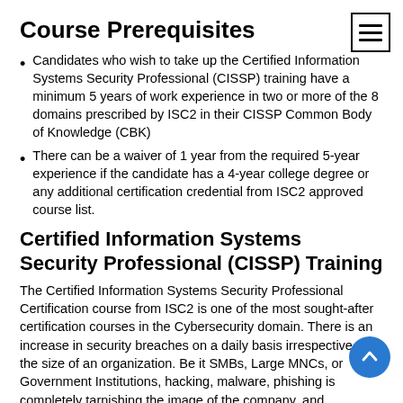Course Prerequisites
Candidates who wish to take up the Certified Information Systems Security Professional (CISSP) training have a minimum 5 years of work experience in two or more of the 8 domains prescribed by ISC2 in their CISSP Common Body of Knowledge (CBK)
There can be a waiver of 1 year from the required 5-year experience if the candidate has a 4-year college degree or any additional certification credential from ISC2 approved course list.
Certified Information Systems Security Professional (CISSP) Training
The Certified Information Systems Security Professional Certification course from ISC2 is one of the most sought-after certification courses in the Cybersecurity domain. There is an increase in security breaches on a daily basis irrespective of the size of an organization. Be it SMBs, Large MNCs, or Government Institutions, hacking, malware, phishing is completely tarnishing the image of the company, and business-critical data is no more